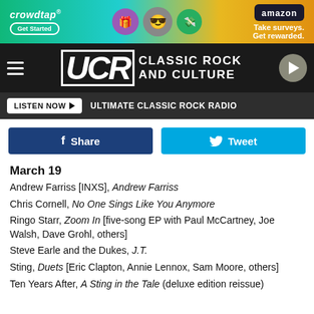[Figure (screenshot): Crowdtap and Amazon advertisement banner]
UCR CLASSIC ROCK AND CULTURE
LISTEN NOW ►  ULTIMATE CLASSIC ROCK RADIO
Share  Tweet
March 19
Andrew Farriss [INXS], Andrew Farriss
Chris Cornell, No One Sings Like You Anymore
Ringo Starr, Zoom In [five-song EP with Paul McCartney, Joe Walsh, Dave Grohl, others]
Steve Earle and the Dukes, J.T.
Sting, Duets [Eric Clapton, Annie Lennox, Sam Moore, others]
Ten Years After, A Sting in the Tale (deluxe edition reissue)